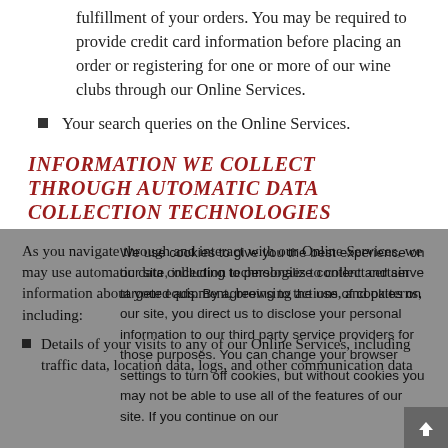fulfillment of your orders. You may be required to provide credit card information before placing an order or registering for one or more of our wine clubs through our Online Services.
Your search queries on the Online Services.
INFORMATION WE COLLECT THROUGH AUTOMATIC DATA COLLECTION TECHNOLOGIES
As you navigate through and interact with our Online Services, we may use automatic data collection technologies to collect certain information about your equipment, browsing actions, and patterns, including:
Details of your visits to any of our Online Services, including traffic data, location data, logs, and other communication data
We use cookies to give you the best experience on our site, including to personalize content and serve targeted ads. By agreeing to the use of cookies on our site, you direct us to disclose your personal information to our third party service providers for those purposes. You can change your browser settings to turn off cookies, but without cookies you may not be able to use all of the features of our site. If you continue on our